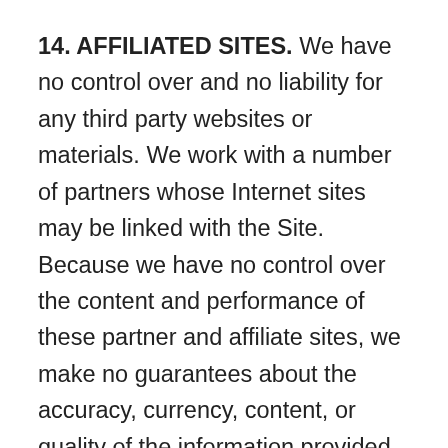14. AFFILIATED SITES. We have no control over and no liability for any third party websites or materials. We work with a number of partners whose Internet sites may be linked with the Site. Because we have no control over the content and performance of these partner and affiliate sites, we make no guarantees about the accuracy, currency, content, or quality of the information provided by such sites, and we assume no responsibility for unintended, objectionable, inaccurate, misleading, or unlawful content that may reside on those sites. Similarly, from time to time in connection with your use of the Site, you may have access to content items (including, but not limited to, websites) that are owned by third parties. You acknowledge and agree